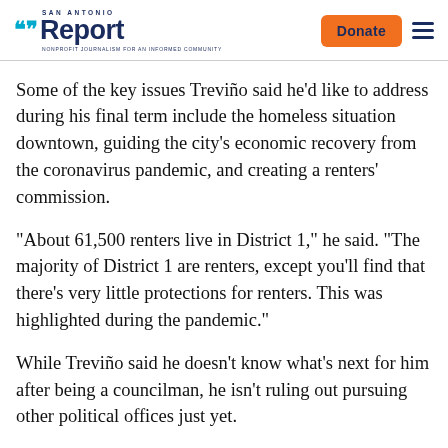San Antonio Report | Donate
Some of the key issues Treviño said he'd like to address during his final term include the homeless situation downtown, guiding the city's economic recovery from the coronavirus pandemic, and creating a renters' commission.
“About 61,500 renters live in District 1,” he said. “The majority of District 1 are renters, except you'll find that there's very little protections for renters. This was highlighted during the pandemic.”
While Treviño said he doesn’t know what’s next for him after being a councilman, he isn’t ruling out pursuing other political offices just yet.